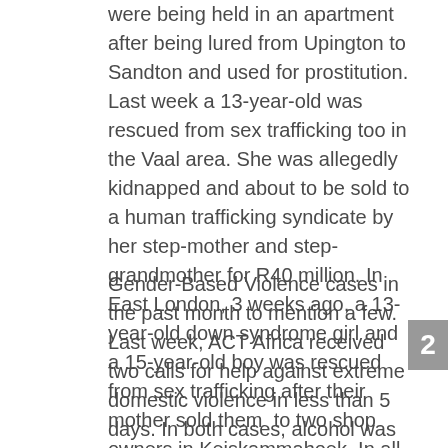were being held in an apartment after being lured from Upington to Sandton and used for prostitution. Last week a 13-year-old was rescued from sex trafficking too in the Vaal area. She was allegedly kidnapped and about to be sold to a human trafficking syndicate by her step-mother and step-grandmother for R40 million. In East London, 3 weeks ago, a 13-year-old down syndrome girl and a 15-year-old boy was rescued from sex trafficking after their mother sold them  to two shop owners in Keiskammahoek. In all these cases perpetrators have been arrested.
Gender-Based Violence cases in the past month to mention a few. Last week, ACT Africa received two calls for help against extreme domestic violence in less than 5 days. In both cases, alcohol was a huge driver and the men after being intoxicated became very abusive towards their wives, threatening to kill them. Last week Thursday a woman was beaten and burnt to death in Walkerville. Two weeks ago in Kwazulu Natal
2